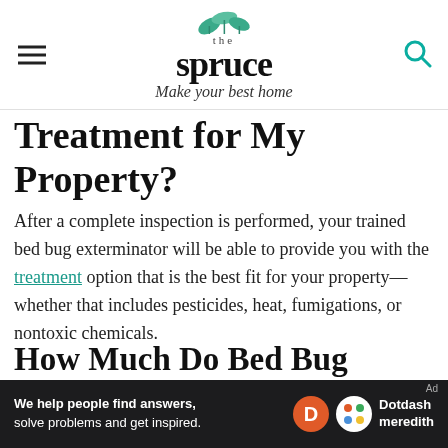the spruce — Make your best home
Treatment for My Property?
After a complete inspection is performed, your trained bed bug exterminator will be able to provide you with the treatment option that is the best fit for your property—whether that includes pesticides, heat, fumigations, or nontoxic chemicals.
How Much Do Bed Bug Exterminators Usually Charge?
[Figure (screenshot): Ad banner: 'We help people find answers, solve problems and get inspired.' with Dotdash Meredith logo]